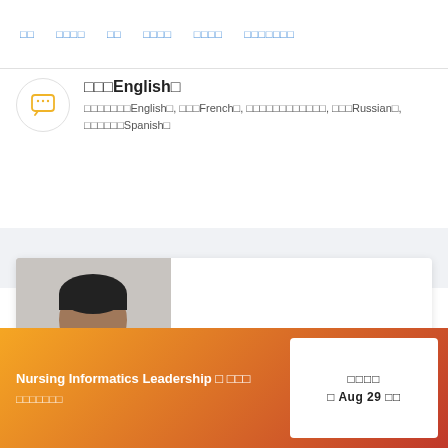□□  □□□□  □□  □□□□  □□□□  □□□□□□□
□□□English□
□□□□□□□English□, □□□French□, □□□□□□□□□□□□, □□□Russian□, □□□□□□Spanish□
[Figure (photo): Photo of a young man with glasses and a mustache, with a testimonial quote mentioning Coursera. Attribution: Chaitanya A.]
□□□□□□□□□□□□□□□□□□□□Coursera □□□□□□□□□ — Chaitanya A.
Nursing Informatics Leadership □ □□□
□□□□□□□
□□□□
□ Aug 29 □□